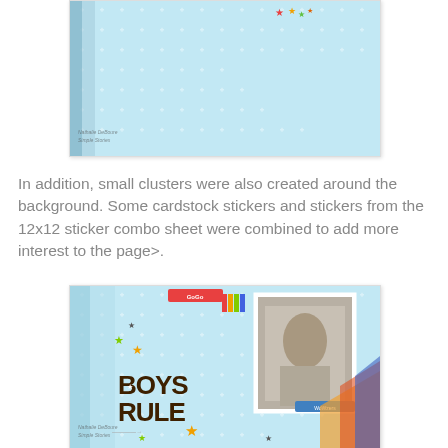[Figure (photo): Close-up photo of a light blue scrapbook page with white cross/plus patterns, showing colorful star stickers and decorative elements in the corner]
In addition, small clusters were also created around the background.   Some cardstock stickers and stickers from the 12x12 sticker combo sheet were combined to add more interest to the page>.
[Figure (photo): Scrapbook layout photo with light blue polka-cross patterned background, dark brown 'BOYS RULE' title letters, colorful star stickers in green, orange and gray, a black and white vintage photo of a boy, and decorative strips and label elements]